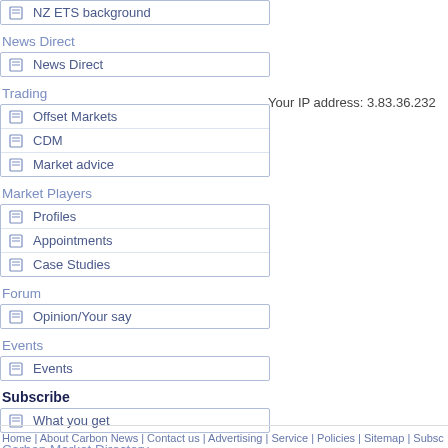NZ ETS background
News Direct
News Direct
Trading
Offset Markets
CDM
Market advice
Your IP address: 3.83.36.232
Market Players
Profiles
Appointments
Case Studies
Forum
Opinion/Your say
Events
Events
Subscribe
What you get
Carbon Market Directory
Books, Music and Films
Home | About Carbon News | Contact us | Advertising | Service | Policies | Sitemap | Subsc